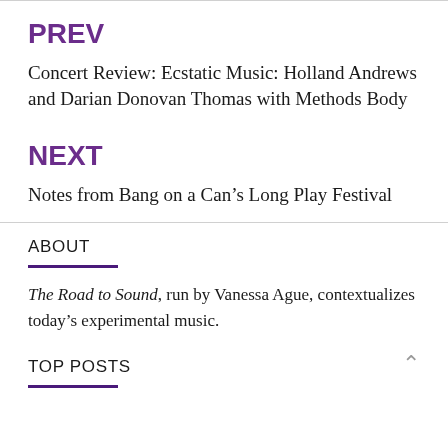PREV
Concert Review: Ecstatic Music: Holland Andrews and Darian Donovan Thomas with Methods Body
NEXT
Notes from Bang on a Can’s Long Play Festival
ABOUT
The Road to Sound, run by Vanessa Ague, contextualizes today’s experimental music.
TOP POSTS